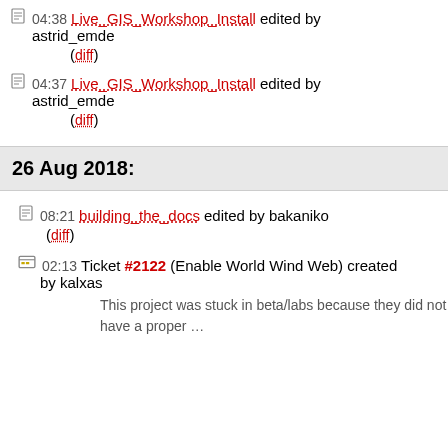04:38 Live_GIS_Workshop_Install edited by astrid_emde (diff)
04:37 Live_GIS_Workshop_Install edited by astrid_emde (diff)
26 Aug 2018:
08:21 building_the_docs edited by bakaniko (diff)
02:13 Ticket #2122 (Enable World Wind Web) created by kalxas
This project was stuck in beta/labs because they did not have a proper …